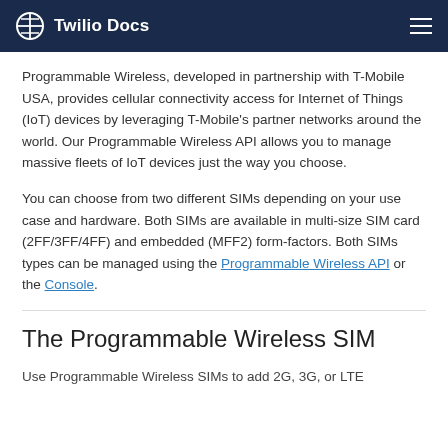Twilio Docs
Programmable Wireless, developed in partnership with T-Mobile USA, provides cellular connectivity access for Internet of Things (IoT) devices by leveraging T-Mobile's partner networks around the world. Our Programmable Wireless API allows you to manage massive fleets of IoT devices just the way you choose.
You can choose from two different SIMs depending on your use case and hardware. Both SIMs are available in multi-size SIM card (2FF/3FF/4FF) and embedded (MFF2) form-factors. Both SIMs types can be managed using the Programmable Wireless API or the Console.
The Programmable Wireless SIM
Use Programmable Wireless SIMs to add 2G, 3G, or LTE